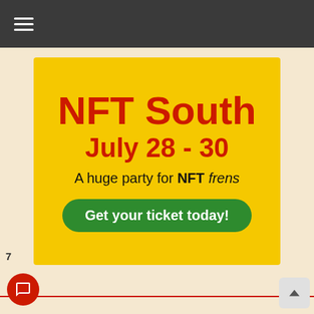Navigation menu (hamburger icon)
[Figure (infographic): Yellow banner advertisement for NFT South event. Large red bold text reads 'NFT South' and 'July 28 - 30'. Below reads 'A huge party for NFT frens' with NFT in bold and frens in italic. A green rounded button reads 'Get your ticket today!'.]
7